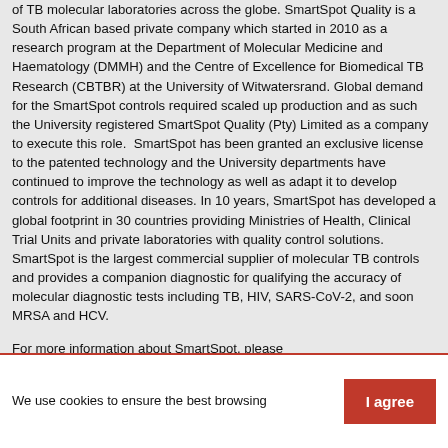of TB molecular laboratories across the globe. SmartSpot Quality is a South African based private company which started in 2010 as a research program at the Department of Molecular Medicine and Haematology (DMMH) and the Centre of Excellence for Biomedical TB Research (CBTBR) at the University of Witwatersrand. Global demand for the SmartSpot controls required scaled up production and as such the University registered SmartSpot Quality (Pty) Limited as a company to execute this role.  SmartSpot has been granted an exclusive license to the patented technology and the University departments have continued to improve the technology as well as adapt it to develop controls for additional diseases. In 10 years, SmartSpot has developed a global footprint in 30 countries providing Ministries of Health, Clinical Trial Units and private laboratories with quality control solutions. SmartSpot is the largest commercial supplier of molecular TB controls and provides a companion diagnostic for qualifying the accuracy of molecular diagnostic tests including TB, HIV, SARS-CoV-2, and soon MRSA and HCV.
For more information about SmartSpot, please visit www.SmartSpotQ.com.
We use cookies to ensure the best browsing